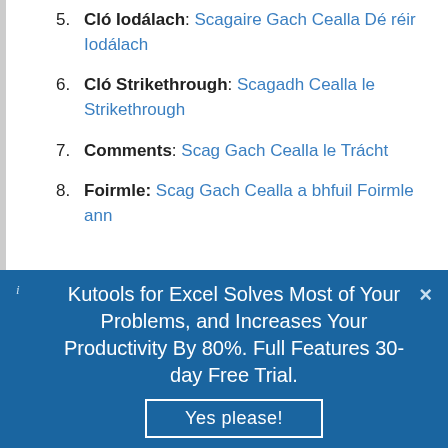5. Cló Iodálach: Scagaire Gach Cealla Dé réir Iodálach
6. Cló Strikethrough: Scagadh Cealla le Strikethrough
7. Comments: Scag Gach Cealla le Trácht
8. Foirmle: Scag Gach Cealla a bhfuil Foirmle ann
Kutools for Excel Solves Most of Your Problems, and Increases Your Productivity By 80%. Full Features 30-day Free Trial.